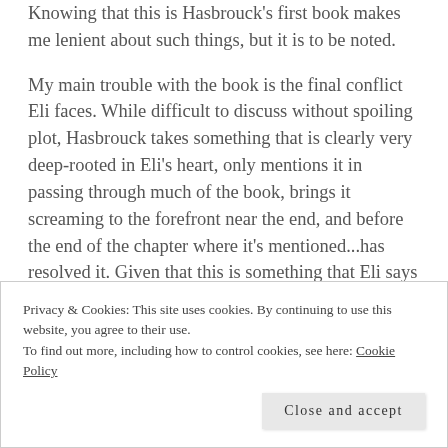Knowing that this is Hasbrouck's first book makes me lenient about such things, but it is to be noted.
My main trouble with the book is the final conflict Eli faces. While difficult to discuss without spoiling plot, Hasbrouck takes something that is clearly very deep-rooted in Eli's heart, only mentions it in passing through much of the book, brings it screaming to the forefront near the end, and before the end of the chapter where it's mentioned...has resolved it. Given that this is something that Eli says has bothered him for quite some time, it strikes me as incredibly hard to believe–even in the face of a deity telling me the truth–
Privacy & Cookies: This site uses cookies. By continuing to use this website, you agree to their use.
To find out more, including how to control cookies, see here: Cookie Policy